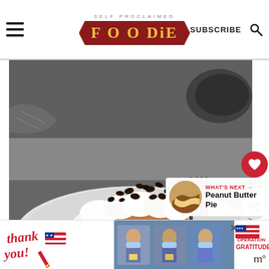SELF PROCLAIMED FOODIE — SUBSCRIBE
[Figure (photo): A slice of chocolate cream pie topped with whipped cream and chocolate chips on a white plate, with a fork visible in the background. Black and white background.]
[Figure (photo): Thumbnail of Peanut Butter Pie for 'What's Next' recommendation]
WHAT'S NEXT → Peanut Butter Pie
[Figure (photo): Advertisement banner: Thank you message with Operation Gratitude branding, featuring people in masks holding packages]